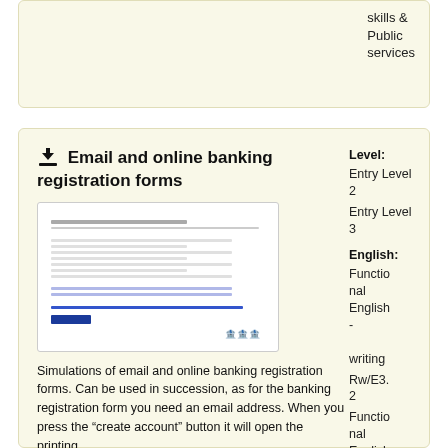skills & Public services
Email and online banking registration forms
[Figure (screenshot): Thumbnail screenshot of an online banking registration form with form fields and a blue button]
Simulations of email and online banking registration forms. Can be used in succession, as for the banking registration form you need an email address. When you press the “create account” button it will open the printing
Level: Entry Level 2
Entry Level 3
English: Functional English - writing
Rw/E3.2
Functional English reading